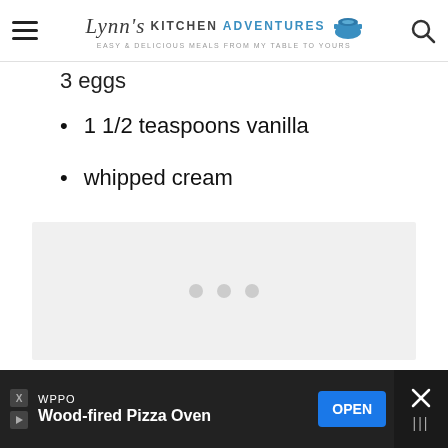Lynn's Kitchen Adventures — Easy & delicious meals from my table to yours
3 eggs
1 1/2 teaspoons vanilla
whipped cream
[Figure (other): Gray advertisement placeholder box with three dots]
WPPO — Wood-fired Pizza Oven — OPEN ad banner